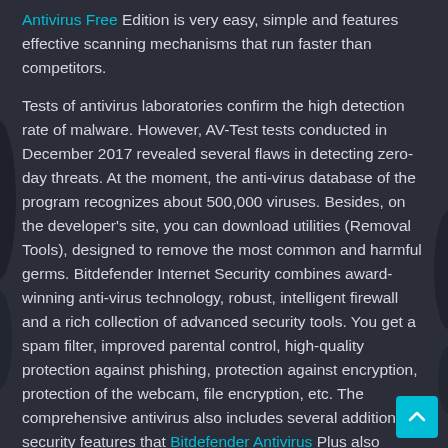Antivirus Free Edition is very easy, simple and features effective scanning mechanisms that run faster than competitors.
Tests of antivirus laboratories confirm the high detection rate of malware. However, AV-Test tests conducted in December 2017 revealed several flaws in detecting zero-day threats. At the moment, the anti-virus database of the program recognizes about 500,000 viruses. Besides, on the developer's site, you can download utilities (Removal Tools), designed to remove the most common and harmful germs. Bitdefender Internet Security combines award-winning anti-virus technology, robust, intelligent firewall and a rich collection of advanced security tools. You get a spam filter, improved parental control, high-quality protection against phishing, protection against encryption, protection of the webcam, file encryption, etc. The comprehensive antivirus also includes several additional security features that Bitdefender Antivirus Plus also offers.